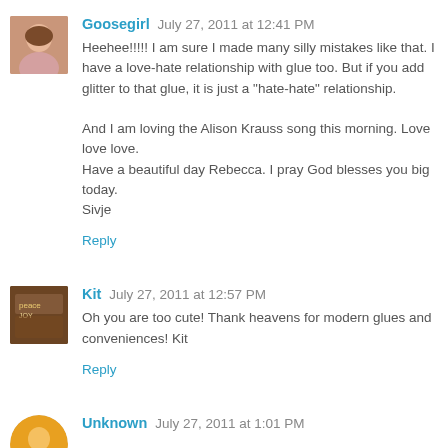Goosegirl July 27, 2011 at 12:41 PM
Heehee!!!!! I am sure I made many silly mistakes like that. I have a love-hate relationship with glue too. But if you add glitter to that glue, it is just a "hate-hate" relationship.

And I am loving the Alison Krauss song this morning. Love love love.
Have a beautiful day Rebecca. I pray God blesses you big today.
Sivje
Reply
Kit July 27, 2011 at 12:57 PM
Oh you are too cute! Thank heavens for modern glues and conveniences! Kit
Reply
Unknown July 27, 2011 at 1:01 PM